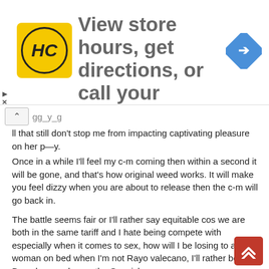[Figure (other): Advertisement banner for a hair salon app (HC logo) with text 'View store hours, get directions, or call your salon!' and a blue navigation/directions diamond icon on the right]
…ll that still don't stop me from impacting captivating pleasure on her p—y.
Once in a while I'll feel my c-m coming then within a second it will be gone, and that's how original weed works. It will make you feel dizzy when you are about to release then the c-m will go back in.

The battle seems fair or I'll rather say equitable cos we are both in the same tariff and I hate being compete with especially when it comes to sex, how will I be losing to a woman on bed when I'm not Rayo valecano, I'll rather be a Barcelona and carry the Spanish cup.
She seems to be getting stronger by the seconds and I feels like I'm getting weaker so I chose to cheat.